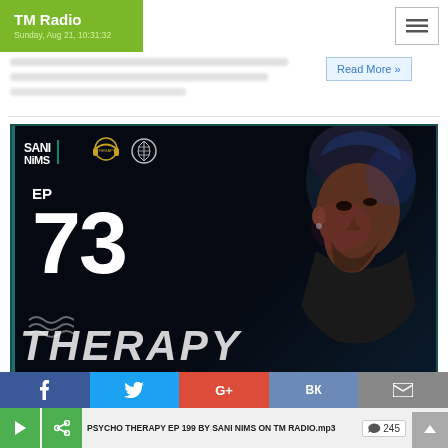TM Radio Sunday, Aug 21, 10:31:32
Read More »
[Figure (photo): Promotional image for Psycho Therapy EP 73 by Sani Nims. Dark background with DJ profile silhouette, logos in top-left (Sani Nims, Trance logo, brain icon), large text 'EP 73' in white on the left, and 'THERAPY' text at the bottom.]
PSYCHO THERAPY EP 199 BY SANI NIMS ON TM RADIO.mp3